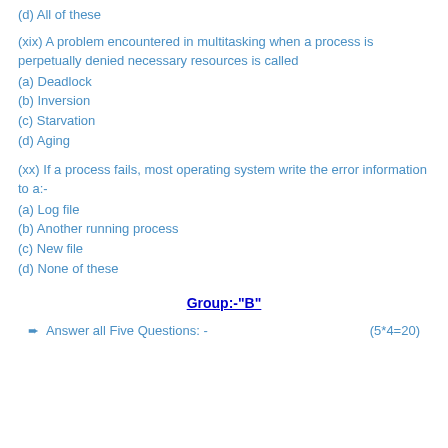(d) All of these
(xix) A problem encountered in multitasking when a process is perpetually denied necessary resources is called
(a) Deadlock
(b) Inversion
(c) Starvation
(d) Aging
(xx) If a process fails, most operating system write the error information to a:-
(a) Log file
(b) Another running process
(c) New file
(d) None of these
Group:-"B"
➨ Answer all Five Questions: -     (5*4=20)